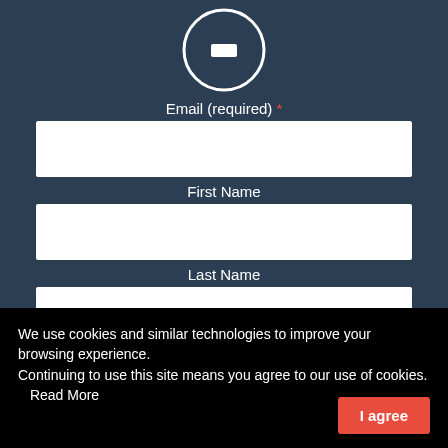[Figure (other): Avatar circle icon with white border on dark blue background]
Email (required) *
[Figure (other): Empty white input field for email]
First Name
[Figure (other): Empty white input field for first name]
Last Name
[Figure (other): Empty white input field for last name]
Job Title
We use cookies and similar technologies to improve your browsing experience.
Continuing to use this site means you agree to our use of cookies.   Read More
I agree